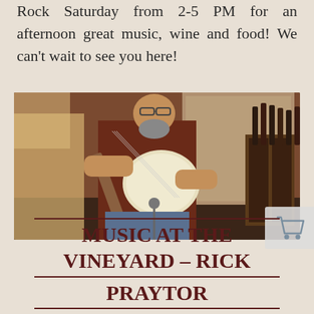Rock Saturday from 2-5 PM for an afternoon great music, wine and food! We can't wait to see you here!
[Figure (photo): A man playing an electric guitar (Stratocaster style, cream colored) seated inside what appears to be a winery tasting room with brick walls and wine bottles visible in the background. A blonde woman is partially visible on the left.]
MUSIC AT THE VINEYARD – RICK PRAYTOR